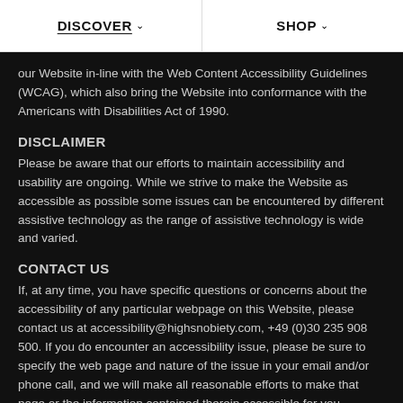DISCOVER   SHOP
our Website in-line with the Web Content Accessibility Guidelines (WCAG), which also bring the Website into conformance with the Americans with Disabilities Act of 1990.
DISCLAIMER
Please be aware that our efforts to maintain accessibility and usability are ongoing. While we strive to make the Website as accessible as possible some issues can be encountered by different assistive technology as the range of assistive technology is wide and varied.
CONTACT US
If, at any time, you have specific questions or concerns about the accessibility of any particular webpage on this Website, please contact us at accessibility@highsnobiety.com, +49 (0)30 235 908 500. If you do encounter an accessibility issue, please be sure to specify the web page and nature of the issue in your email and/or phone call, and we will make all reasonable efforts to make that page or the information contained therein accessible for you.